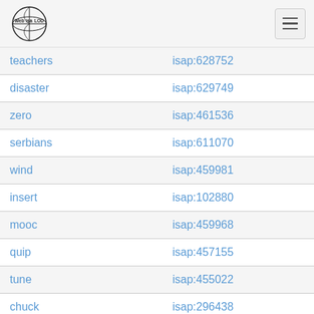Web isa LOD
| term | id |
| --- | --- |
| teachers | isap:628752 |
| disaster | isap:629749 |
| zero | isap:461536 |
| serbians | isap:611070 |
| wind | isap:459981 |
| insert | isap:102880 |
| mooc | isap:459968 |
| quip | isap:457155 |
| tune | isap:455022 |
| chuck | isap:296438 |
| human | isap:292870 |